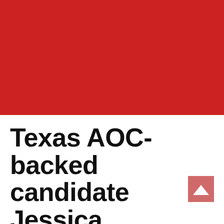[Figure (other): Solid red rectangular block filling the top portion of the page]
Texas AOC-backed candidate Jessica Cisneros
[Figure (logo): Small reddish-pink square logo with a white upward-pointing chevron/caret symbol, overlaid in the lower-right area near the title text]